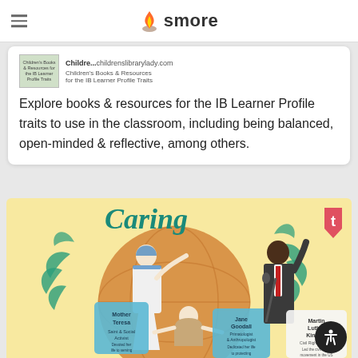smore
Children's Books & Resources for the IB Learner Profile Traits  Childre...childrenslibrarylady.com
Explore books & resources for the IB Learner Profile traits to use in the classroom, including being balanced, open-minded & reflective, among others.
[Figure (illustration): Caring infographic illustration showing Mother Teresa, Jane Goodall, and Martin Luther King Jr. with a globe background and teal/yellow color scheme]